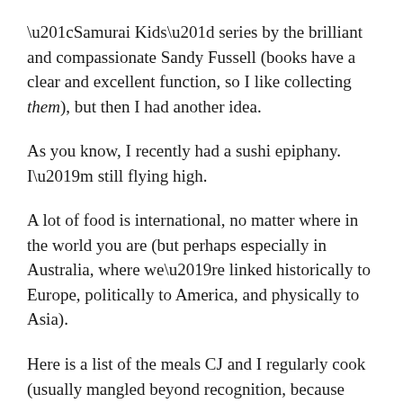“Samurai Kids” series by the brilliant and compassionate Sandy Fussell (books have a clear and excellent function, so I like collecting them), but then I had another idea.
As you know, I recently had a sushi epiphany. I’m still flying high.
A lot of food is international, no matter where in the world you are (but perhaps especially in Australia, where we’re linked historically to Europe, politically to America, and physically to Asia).
Here is a list of the meals CJ and I regularly cook (usually mangled beyond recognition, because that’s the multicultural way), with the country that instantly comes to mind (this is my mind, which is going to be wrong on plenty of these):
Lasagna (Italy)